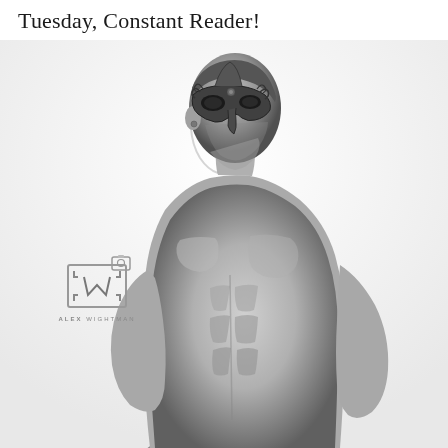Tuesday, Constant Reader!
[Figure (photo): Black and white photograph of a muscular shirtless man wearing an ornate masquerade mask, photographed from a slightly low angle against a white background. A watermark logo reading 'Alex Wightman' with a stylized AW camera icon appears in the lower left area of the image.]